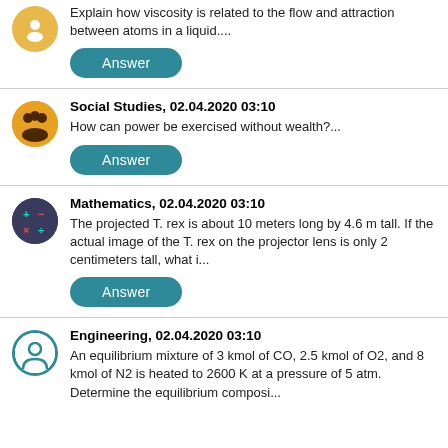Explain how viscosity is related to the flow and attraction between atoms in a liquid....
Answer
Social Studies, 02.04.2020 03:10
How can power be exercised without wealth?...
Answer
Mathematics, 02.04.2020 03:10
The projected T. rex is about 10 meters long by 4.6 m tall. If the actual image of the T. rex on the projector lens is only 2 centimeters tall, what i...
Answer
Engineering, 02.04.2020 03:10
An equilibrium mixture of 3 kmol of CO, 2.5 kmol of O2, and 8 kmol of N2 is heated to 2600 K at a pressure of 5 atm. Determine the equilibrium composi...